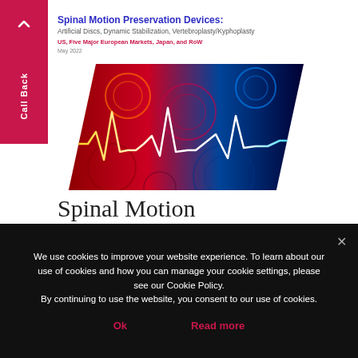Spinal Motion Preservation Devices: Artificial Discs, Dynamic Stabilization, Vertebroplasty/Kyphoplasty
US, Five Major European Markets, Japan, and RoW
May 2022
[Figure (illustration): Abstract medical/heartbeat waveform image with colorful circles and ECG line on a dark red-to-blue gradient background, shaped as a parallelogram/perspective cover]
Spinal Motion
We use cookies to improve your website experience. To learn about our use of cookies and how you can manage your cookie settings, please see our Cookie Policy.
By continuing to use the website, you consent to our use of cookies.
Ok
Read more